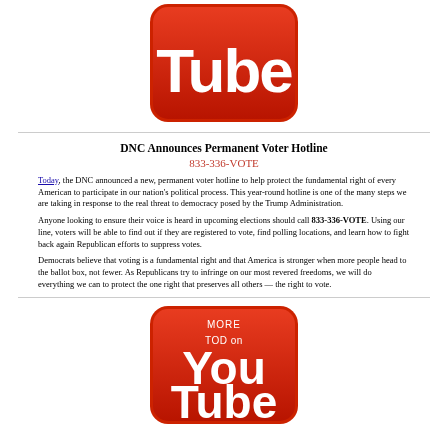[Figure (logo): YouTube logo showing 'Tube' text on red rounded rectangle background, top portion of logo (cropped)]
DNC Announces Permanent Voter Hotline
833-336-VOTE
Today, the DNC announced a new, permanent voter hotline to help protect the fundamental right of every American to participate in our nation's political process.  This year-round hotline is one of the many steps we are taking in response to the real threat to democracy posed by the Trump Administration.
Anyone looking to ensure their voice is heard in upcoming elections should call 833-336-VOTE.  Using our line, voters will be able to find out if they are registered to vote, find polling locations, and learn how to fight back again Republican efforts to suppress votes.
Democrats believe that voting is a fundamental right and that America is stronger when more people head to the ballot box, not fewer.  As Republicans try to infringe on our most revered freedoms, we will do everything we can to protect the one right that preserves all others — the right to vote.
[Figure (logo): YouTube logo with 'MORE TOD on' text above 'You' and 'Tube' on red rounded rectangle, partially cropped at bottom]